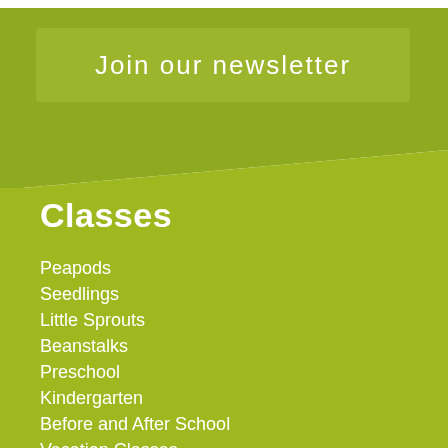[Figure (other): Newsletter join button - olive green rectangular button with white text]
Classes
Peapods
Seedlings
Little Sprouts
Beanstalks
Preschool
Kindergarten
Before and After School
Vacation Classes
Summer @ Sproutlings